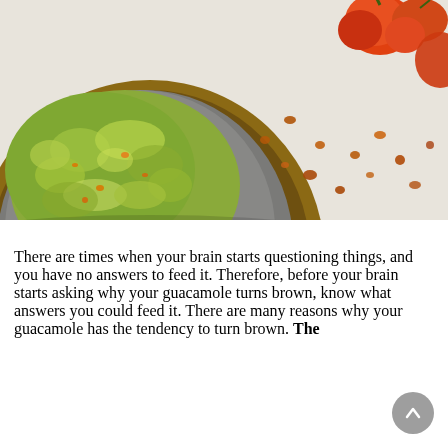[Figure (photo): Close-up photo of guacamole in a stone mortar (molcajete), with scattered orange/red chili peppers and spices on a light background.]
There are times when your brain starts questioning things, and you have no answers to feed it. Therefore, before your brain starts asking why your guacamole turns brown, know what answers you could feed it. There are many reasons why your guacamole has the tendency to turn brown. The